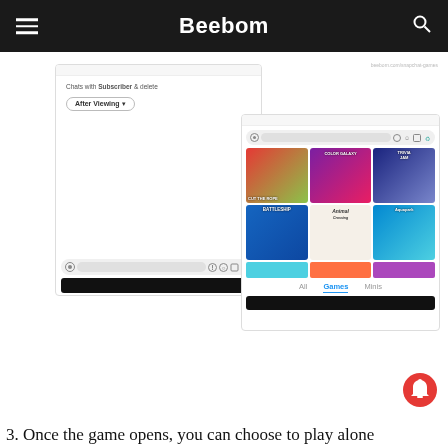Beebom
[Figure (screenshot): Snapchat app screenshot showing 'Chats with Subscriber delete' and 'After Viewing' button option, with a send bar at the bottom including camera icon, text field, mic, emoji, sticker, and game icons]
[Figure (screenshot): Snapchat app screenshot showing the games panel with a send bar at top and a grid of 6 game tiles: Cut the Rope, Color Galaxy, Trivia game, Battleship, Animal Crossing-style, Aquapark; with tabs All, Games, Minis at bottom]
3. Once the game opens, you can choose to play alone